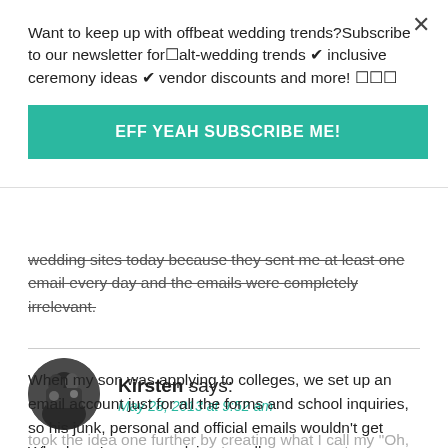Want to keep up with offbeat wedding trends?Subscribe to our newsletter for☐alt-wedding trends ✔ inclusive ceremony ideas ✔ vendor discounts and more! ☐☐☐
EFF YEAH SUBSCRIBE ME!
wedding sites today because they sent me at least one email every day and the emails were completely irrelevant.
Kirsten says:
May 28, 2013 at 9:52 am
When my son was applying to colleges, we set up an email account just for all the forms and school inquiries, so his junk, personal and official emails wouldn't get mixed up. I took the idea one further by creating what I call my "Oh, no you don't!" email address. Anything that requires me to fill in